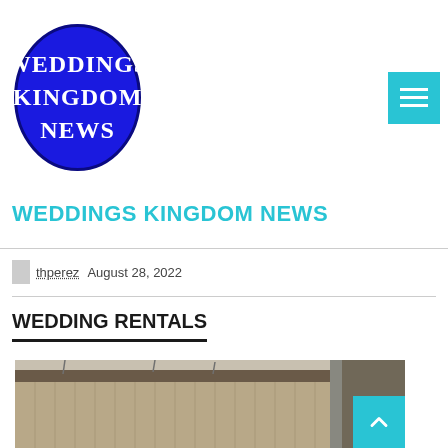[Figure (logo): Weddings Kingdom News oval logo — dark blue oval with white serif text reading WEDDINGS KINGDOM NEWS]
WEDDINGS KINGDOM NEWS
thperez  August 28, 2022
WEDDING RENTALS
[Figure (photo): Exterior photo of a commercial/warehouse building with corrugated metal siding and bare trees in the background]